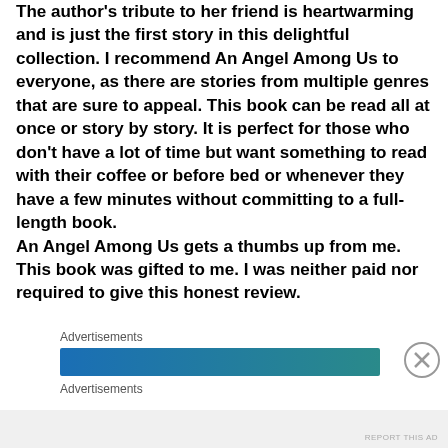The author's tribute to her friend is heartwarming and is just the first story in this delightful collection. I recommend An Angel Among Us to everyone, as there are stories from multiple genres that are sure to appeal. This book can be read all at once or story by story. It is perfect for those who don't have a lot of time but want something to read with their coffee or before bed or whenever they have a few minutes without committing to a full-length book. An Angel Among Us gets a thumbs up from me. This book was gifted to me. I was neither paid nor required to give this honest review.
Advertisements
[Figure (other): Blue to teal gradient advertisement banner bar]
Advertisements